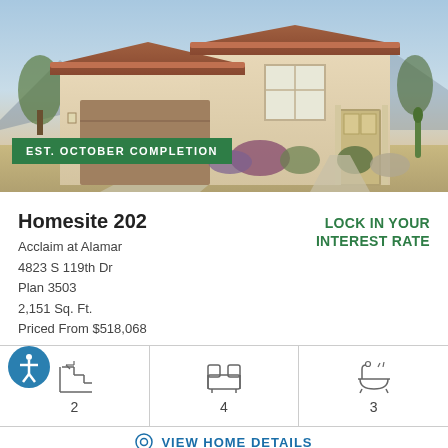[Figure (photo): Exterior rendering of a two-story tan stucco house with brown garage door, desert landscaping, mountains in background. Green badge reads EST. OCTOBER COMPLETION.]
Homesite 202
Acclaim at Alamar
4823 S 119th Dr
Plan 3503
2,151 Sq. Ft.
Priced From $518,068
LOCK IN YOUR INTEREST RATE
[Figure (infographic): Three icons in a row: stairs icon with number 2, bed icon with number 4, bathtub icon with number 3]
VIEW HOME DETAILS